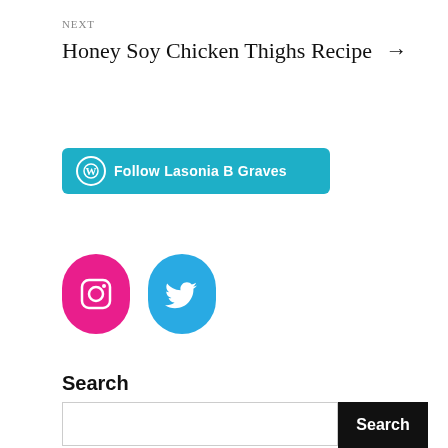NEXT
Honey Soy Chicken Thighs Recipe →
[Figure (other): WordPress Follow button with teal background reading 'Follow Lasonia B Graves']
[Figure (other): Instagram icon (pink rounded rectangle) and Twitter icon (blue rounded rectangle) social media buttons]
Search
Search